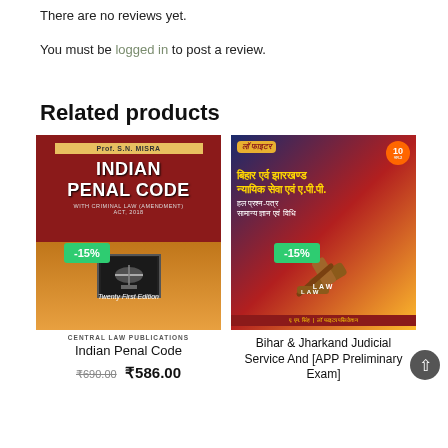There are no reviews yet.
You must be logged in to post a review.
Related products
[Figure (photo): Book cover: Indian Penal Code by Prof. S.N. Misra, Twenty First Edition, with -15% discount badge]
[Figure (photo): Book cover: Bihar & Jharkand Judicial Service And [APP Preliminary Exam] in Hindi, with -15% discount badge]
CENTRAL LAW PUBLICATIONS
Indian Penal Code
₹690.00  ₹586.00
Bihar & Jharkand Judicial Service And [APP Preliminary Exam]